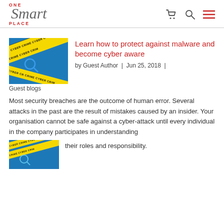ONE Smart PLACE — navigation header with cart, search, and menu icons
[Figure (photo): Cyber crime yellow caution tape image thumbnail]
Learn how to protect against malware and become cyber aware
by Guest Author | Jun 25, 2018 | Guest blogs
Most security breaches are the outcome of human error. Several attacks in the past are the result of mistakes caused by an insider. Your organisation cannot be safe against a cyber-attack until every individual in the company participates in understanding their roles and responsibility.
[Figure (photo): Cyber crime yellow caution tape image - second instance]